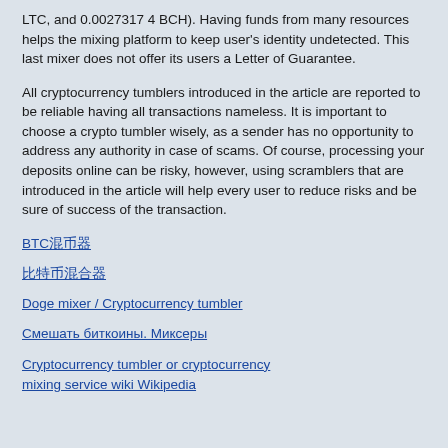LTC, and 0.0027317 4 BCH). Having funds from many resources helps the mixing platform to keep user's identity undetected. This last mixer does not offer its users a Letter of Guarantee.
All cryptocurrency tumblers introduced in the article are reported to be reliable having all transactions nameless. It is important to choose a crypto tumbler wisely, as a sender has no opportunity to address any authority in case of scams. Of course, processing your deposits online can be risky, however, using scramblers that are introduced in the article will help every user to reduce risks and be sure of success of the transaction.
BTC混币器
比特币混合器
Doge mixer / Cryptocurrency tumbler
Смешать биткоины. Миксеры
Cryptocurrency tumbler or cryptocurrency mixing service wiki Wikipedia